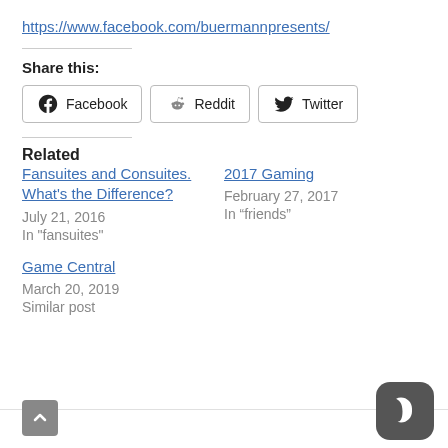https://www.facebook.com/buermannpresents/
Share this:
Facebook  Reddit  Twitter
Related
Fansuites and Consuites. What's the Difference?
July 21, 2016
In "fansuites"
2017 Gaming
February 27, 2017
In “friends”
Game Central
March 20, 2019
Similar post